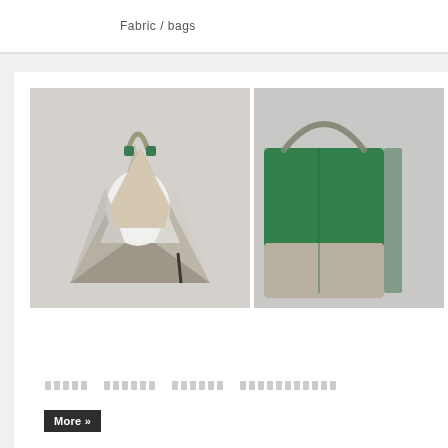Fabric / bags
[Figure (photo): A fabric tote bag in white and grey linen with a green/grey rope handle, photographed against a light grey wall]
[Figure (photo): Partial view of a green and grey fabric tote bag with a rope handle, photographed against a light grey wall]
█████  ██████  ██████  ███████████
More »